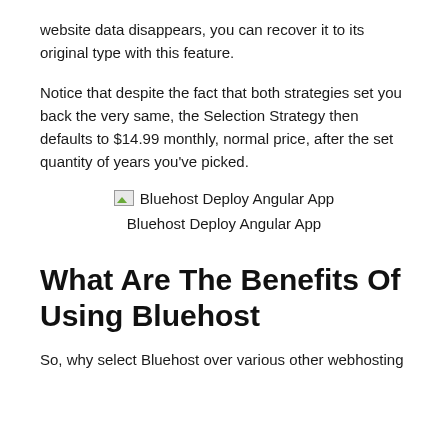website data disappears, you can recover it to its original type with this feature.
Notice that despite the fact that both strategies set you back the very same, the Selection Strategy then defaults to $14.99 monthly, normal price, after the set quantity of years you've picked.
[Figure (illustration): Bluehost Deploy Angular App placeholder image with icon]
Bluehost Deploy Angular App
What Are The Benefits Of Using Bluehost
So, why select Bluehost over various other webhosting